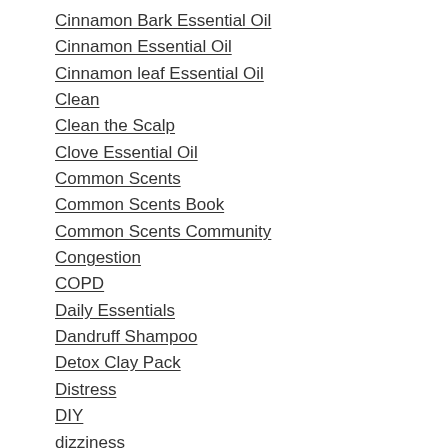Cinnamon Bark Essential Oil
Cinnamon Essential Oil
Cinnamon leaf Essential Oil
Clean
Clean the Scalp
Clove Essential Oil
Common Scents
Common Scents Book
Common Scents Community
Congestion
COPD
Daily Essentials
Dandruff Shampoo
Detox Clay Pack
Distress
DIY
dizziness
Dried Lavender
Dynamic Detox